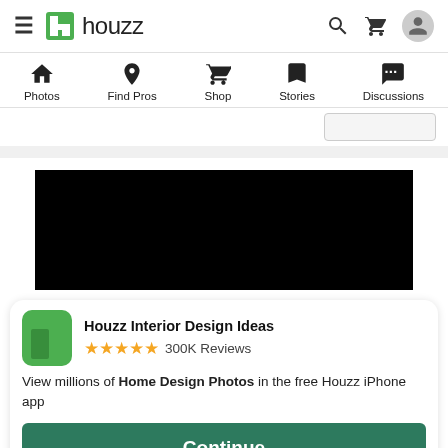houzz
[Figure (screenshot): Navigation bar with Photos, Find Pros, Shop, Stories, Discussions icons]
[Figure (photo): Black image/banner area]
Houzz Interior Design Ideas ★★★★★ 300K Reviews
View millions of Home Design Photos in the free Houzz iPhone app
Continue
Go to Mobile Site